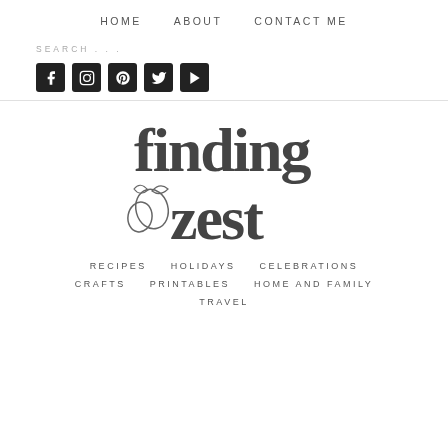HOME   ABOUT   CONTACT ME
SEARCH . . .
[Figure (infographic): Social media icons: Facebook, Instagram, Pinterest, Twitter, YouTube — white icons on dark square backgrounds]
[Figure (logo): finding zest logo with lemon illustration]
RECIPES   HOLIDAYS   CELEBRATIONS   CRAFTS   PRINTABLES   HOME AND FAMILY   TRAVEL